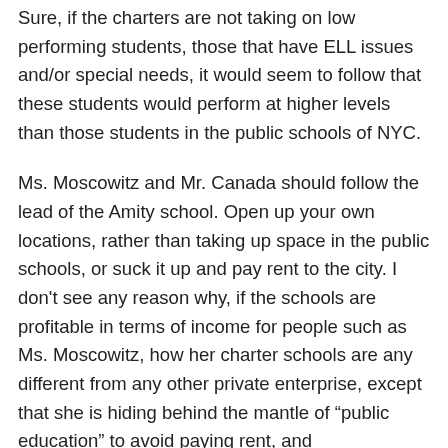Sure, if the charters are not taking on low performing students, those that have ELL issues and/or special needs, it would seem to follow that these students would perform at higher levels than those students in the public schools of NYC.
Ms. Moscowitz and Mr. Canada should follow the lead of the Amity school. Open up your own locations, rather than taking up space in the public schools, or suck it up and pay rent to the city. I don't see any reason why, if the schools are profitable in terms of income for people such as Ms. Moscowitz, how her charter schools are any different from any other private enterprise, except that she is hiding behind the mantle of “public education” to avoid paying rent, and